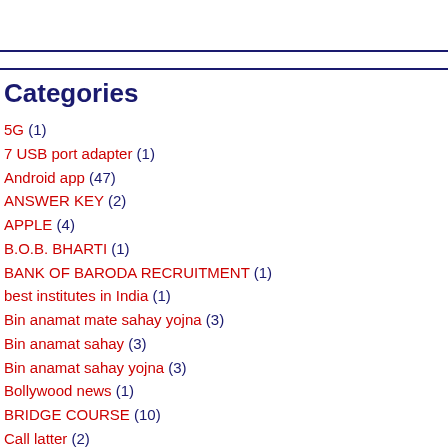Categories
5G (1)
7 USB port adapter (1)
Android app (47)
ANSWER KEY (2)
APPLE (4)
B.O.B. BHARTI (1)
BANK OF BARODA RECRUITMENT (1)
best institutes in India (1)
Bin anamat mate sahay yojna (3)
Bin anamat sahay (3)
Bin anamat sahay yojna (3)
Bollywood news (1)
BRIDGE COURSE (10)
Call latter (2)
CBSE (2)